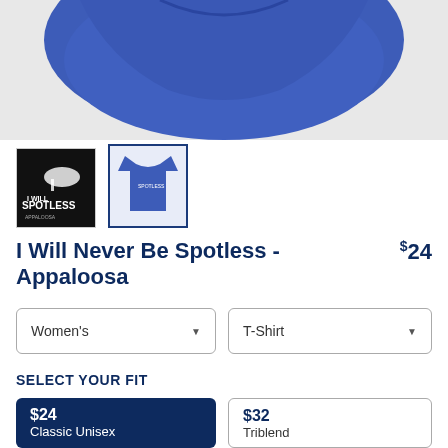[Figure (photo): Blue royal colored garment/t-shirt shown at top, partially cropped]
[Figure (photo): Thumbnail 1: Black background with horse and 'I Will Never Be Spotless' text design]
[Figure (photo): Thumbnail 2: Blue t-shirt with horse design, selected/highlighted with border]
I Will Never Be Spotless - Appaloosa
$24
Women's
T-Shirt
SELECT YOUR FIT
$24
Classic Unisex
$32
Triblend